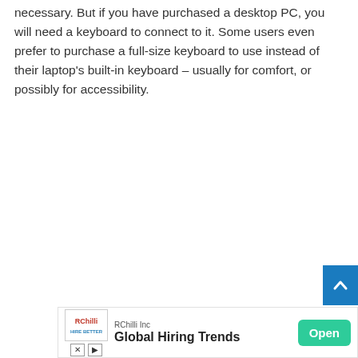necessary. But if you have purchased a desktop PC, you will need a keyboard to connect to it. Some users even prefer to purchase a full-size keyboard to use instead of their laptop's built-in keyboard – usually for comfort, or possibly for accessibility.
[Figure (other): Scroll-to-top button: a blue square button with an upward-pointing chevron arrow icon]
[Figure (other): Advertisement banner for RChilli Inc showing 'Global Hiring Trends' with an Open button]